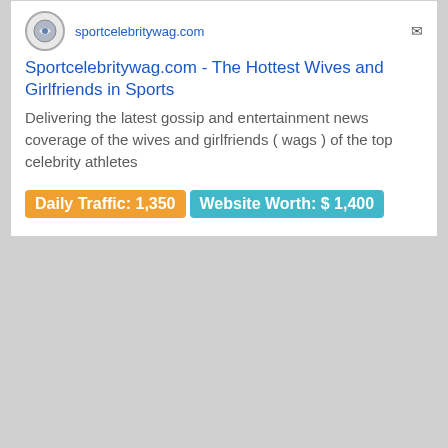Sportcelebritywag.com - The Hottest Wives and Girlfriends in Sports
Delivering the latest gossip and entertainment news coverage of the wives and girlfriends ( wags ) of the top celebrity athletes
Daily Traffic: 1,350   Website Worth: $ 1,400